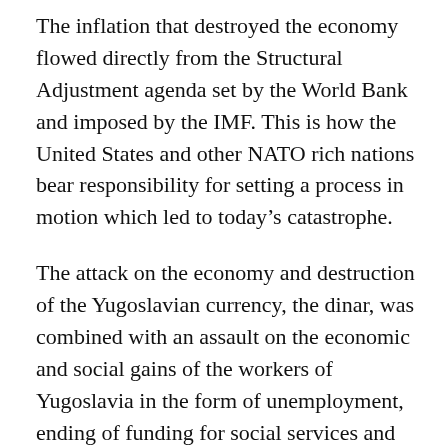The inflation that destroyed the economy flowed directly from the Structural Adjustment agenda set by the World Bank and imposed by the IMF. This is how the United States and other NATO rich nations bear responsibility for setting a process in motion which led to today's catastrophe.
The attack on the economy and destruction of the Yugoslavian currency, the dinar, was combined with an assault on the economic and social gains of the workers of Yugoslavia in the form of unemployment, ending of funding for social services and support for housing, education, health services, and pensions.